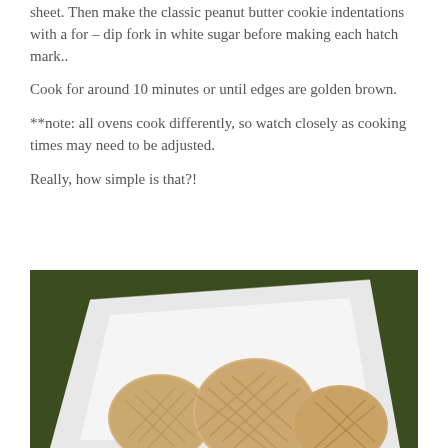sheet. Then make the classic peanut butter cookie indentations with a for – dip fork in white sugar before making each hatch mark..
Cook for around 10 minutes or until edges are golden brown.
**note: all ovens cook differently, so watch closely as cooking times may need to be adjusted.
Really, how simple is that?!
[Figure (photo): Photo of peanut butter cookies with classic crosshatch fork marks arranged on a white plate, set on a dark green textured background.]